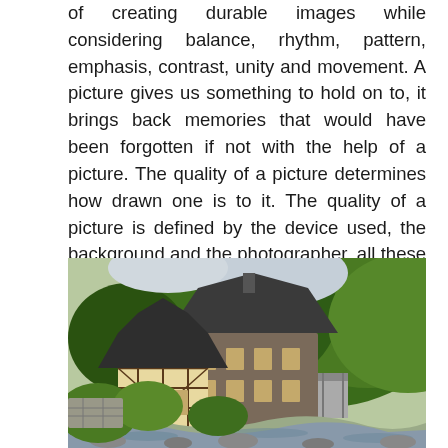of creating durable images while considering balance, rhythm, pattern, emphasis, contrast, unity and movement. A picture gives us something to hold on to, it brings back memories that would have been forgotten if not with the help of a picture. The quality of a picture determines how drawn one is to it. The quality of a picture is defined by the device used, the background and the photographer, all these factors determine how captivating a picture would turn out to be.
[Figure (photo): A historic half-timbered building with a steep slate roof beside a rocky stream, surrounded by dense green forest and trees.]